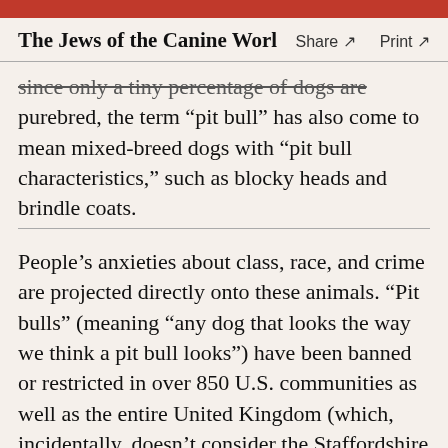The Jews of the Canine World   Share ↗   Print ↗
since only a tiny percentage of dogs are purebred, the term “pit bull” has also come to mean mixed-breed dogs with “pit bull characteristics,” such as blocky heads and brindle coats.
People’s anxieties about class, race, and crime are projected directly onto these animals. “Pit bulls” (meaning “any dog that looks the way we think a pit bull looks”) have been banned or restricted in over 850 U.S. communities as well as the entire United Kingdom (which, incidentally, doesn’t consider the Staffordshire bull terrier, a classy breed that originated in